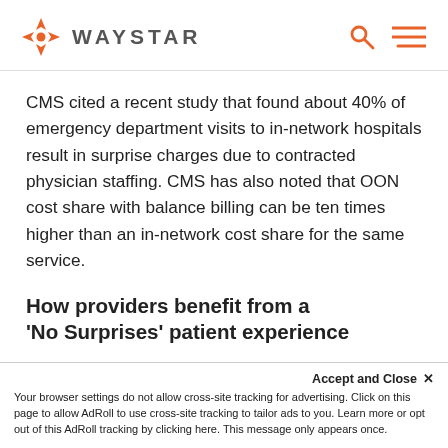WAYSTAR
CMS cited a recent study that found about 40% of emergency department visits to in-network hospitals result in surprise charges due to contracted physician staffing. CMS has also noted that OON cost share with balance billing can be ten times higher than an in-network cost share for the same service.
How providers benefit from a 'No Surprises' patient experience
Accept and Close ×
Your browser settings do not allow cross-site tracking for advertising. Click on this page to allow AdRoll to use cross-site tracking to tailor ads to you. Learn more or opt out of this AdRoll tracking by clicking here. This message only appears once.